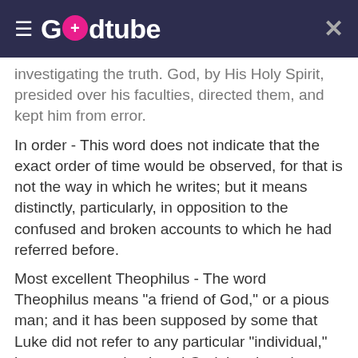Godtube
investigating the truth. God, by His Holy Spirit, presided over his faculties, directed them, and kept him from error.
In order - This word does not indicate that the exact order of time would be observed, for that is not the way in which he writes; but it means distinctly, particularly, in opposition to the confused and broken accounts to which he had referred before.
Most excellent Theophilus - The word Theophilus means "a friend of God," or a pious man; and it has been supposed by some that Luke did not refer to any particular "individual," but to any man that loved God; but there is no reason for this opinion. Significant names were very common, and there is no good reason to doubt that this was some individual known to Luke. The application of the title "most excellent "proves it further. It would not be given to an unknown man. The title "most excellent" has by some